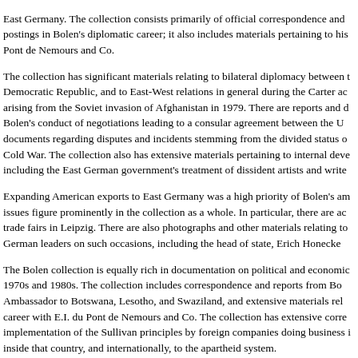East Germany. The collection consists primarily of official correspondence and postings in Bolen's diplomatic career; it also includes materials pertaining to his Pont de Nemours and Co.
The collection has significant materials relating to bilateral diplomacy between the Democratic Republic, and to East-West relations in general during the Carter administration arising from the Soviet invasion of Afghanistan in 1979. There are reports and documents on Bolen's conduct of negotiations leading to a consular agreement between the U.S. and GDR, documents regarding disputes and incidents stemming from the divided status of Berlin during the Cold War. The collection also has extensive materials pertaining to internal developments in the GDR, including the East German government's treatment of dissident artists and writers.
Expanding American exports to East Germany was a high priority of Bolen's ambassadorship, and trade issues figure prominently in the collection as a whole. In particular, there are accounts of the U.S. trade fairs in Leipzig. There are also photographs and other materials relating to meetings with East German leaders on such occasions, including the head of state, Erich Honecker.
The Bolen collection is equally rich in documentation on political and economic affairs in Africa in the 1970s and 1980s. The collection includes correspondence and reports from Bolen's tenure as U.S. Ambassador to Botswana, Lesotho, and Swaziland, and extensive materials relating to his subsequent career with E.I. du Pont de Nemours and Co. The collection has extensive correspondence on the implementation of the Sullivan principles by foreign companies doing business in South Africa, opposition, inside that country, and internationally, to the apartheid system.
The collection also contains a selection of speeches and remarks made by Ambassador Bolen during his diplomatic and business careers, most of which deal with African and East German affairs. There are biographical materials, including accounts of Bolen's early prominence as an Olympic athlete. Throughout the collection are interspersed documents that record Bolen's own thoughts on American race relations and his views on civil rights and his experiences as a prominent African-American official.